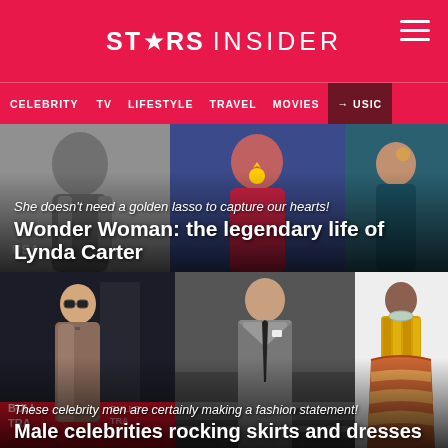STARS INSIDER
CELEBRITY  TV  LIFESTYLE  TRAVEL  MOVIES  MUSIC
She doesn't need a golden lasso to capture our hearts!
Wonder Woman: the legendary life of Lynda Carter
These celebrity men are certainly making a fashion statement!
Male celebrities rocking skirts and dresses